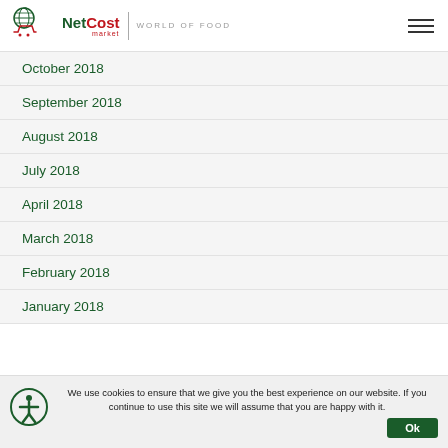NetCost market | WORLD OF FOOD
October 2018
September 2018
August 2018
July 2018
April 2018
March 2018
February 2018
January 2018
We use cookies to ensure that we give you the best experience on our website. If you continue to use this site we will assume that you are happy with it. Ok